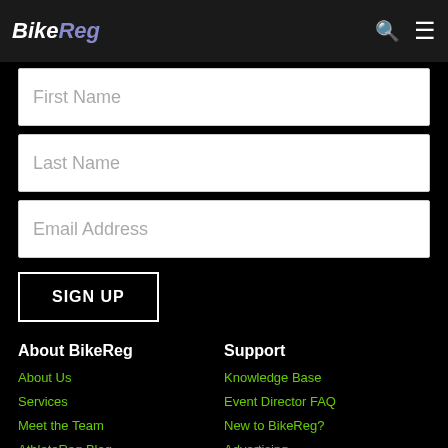BikeReg
First Name
Last Name
Email Address
SIGN UP
About BikeReg
About Us
Services
Meet the Team
AthleteReg Blog
Careers
Support
Knowledge Base
Event Director FAQ
New to BikeReg?
Advertising
Contact BikeReg